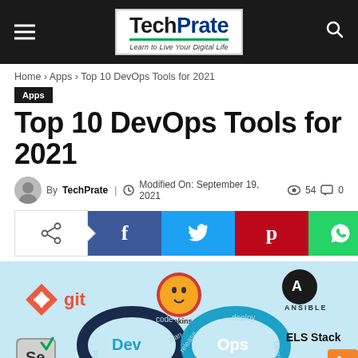TechPrate – Learn to Live Your Digital Life
Home › Apps › Top 10 DevOps Tools for 2021
Apps
Top 10 DevOps Tools for 2021
By TechPrate | Modified On: September 19, 2021 | 54 views | 0 comments
[Figure (infographic): Social share buttons: share icon, Facebook (f), Twitter (bird), Pinterest (p), WhatsApp (phone)]
[Figure (infographic): DevOps tools banner image showing Git, Jenkins, Ansible logos, an infinity loop diagram with Dev and Ops labels showing code/plan/build/release/deploy/operate stages, ELS Stack text, Selenium (Se) logo, Splunk logo, and an orange scroll-to-top button.]